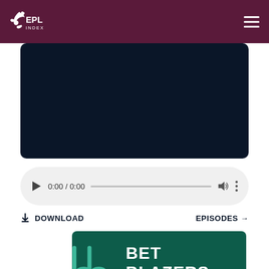EPL Index
[Figure (screenshot): Dark navy blue video player area]
[Figure (screenshot): Audio controls bar showing 0:00 / 0:00 with play button, progress bar, volume and more icons]
DOWNLOAD
EPISODES →
[Figure (logo): Bet Blazers logo on dark teal background with 'bb' icon and yellow dots]